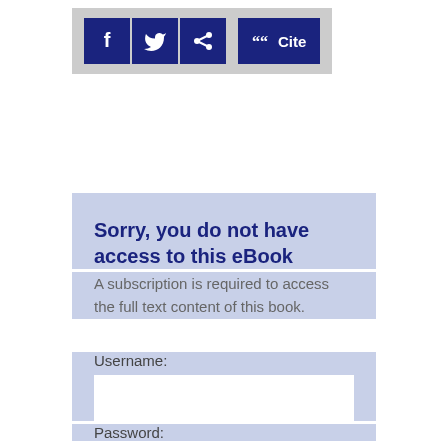[Figure (screenshot): Social sharing toolbar with Facebook, Twitter, Share, and Cite buttons in dark navy blue on a grey background]
Sorry, you do not have access to this eBook
A subscription is required to access the full text content of this book.
Username:
Password: